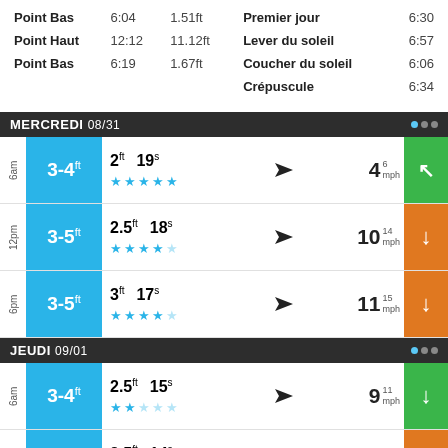| Label | Time | Ft | Label2 | Time2 |
| --- | --- | --- | --- | --- |
| Point Bas | 6:04 | 1.51ft | Premier jour | 6:30 |
| Point Haut | 12:12 | 11.12ft | Lever du soleil | 6:57 |
| Point Bas | 6:19 | 1.67ft | Coucher du soleil | 6:06 |
|  |  |  | Crépuscule | 6:34 |
MERCREDI 08/31
| Time | Wave | Ft | Sec | Dir | Wind | Cond |
| --- | --- | --- | --- | --- | --- | --- |
| 6am | 3-4ft | 2ft | 19s | → | 4 6mph | ★★★★★ |
| 12pm | 3-5ft | 2.5ft | 18s | → | 10 14mph | ★★★★☆ |
| 6pm | 3-5ft | 3ft | 17s | → | 11 15mph | ★★★★☆ |
JEUDI 09/01
| Time | Wave | Ft | Sec | Dir | Wind | Cond |
| --- | --- | --- | --- | --- | --- | --- |
| 6am | 3-4ft | 2.5ft | 15s | → | 9 11mph | ★★☆☆☆ |
| 12pm | 2-4ft | 2.5ft | 14s | → | 10 14mph | ★★☆☆☆ |